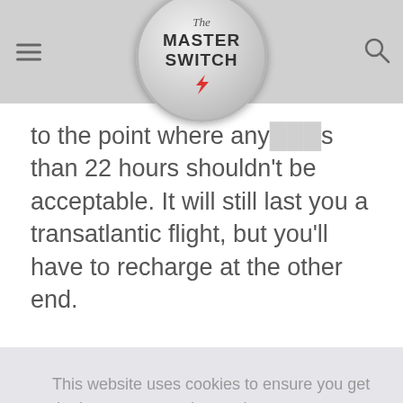The Master Switch
to the point where any[...] than 22 hours shouldn’t be acceptable. It will still last you a transatlantic flight, but you’ll have to recharge at the other end.
[Figure (photo): Photo of a device on a textured fabric surface with a dark curved object]
This website uses cookies to ensure you get the best user experience. Learn more
Got it!